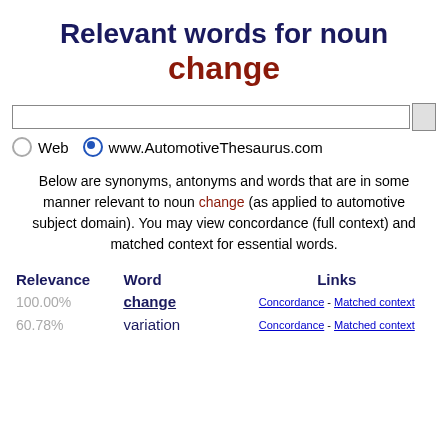Relevant words for noun change
[Figure (screenshot): Search bar with empty text field and a button, with two radio buttons: Web and www.AutomotiveThesaurus.com (selected)]
Below are synonyms, antonyms and words that are in some manner relevant to noun change (as applied to automotive subject domain). You may view concordance (full context) and matched context for essential words.
| Relevance | Word | Links |
| --- | --- | --- |
| 100.00% | change | Concordance - Matched context |
| 60.78% | variation | Concordance - Matched context |